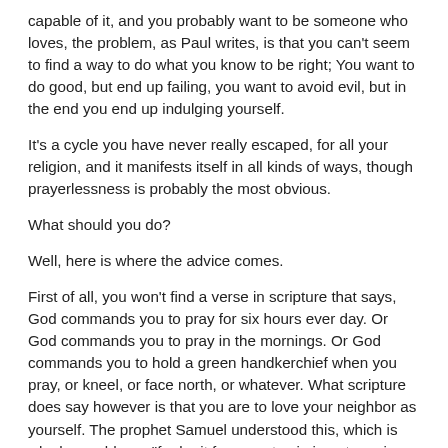capable of it, and you probably want to be someone who loves, the problem, as Paul writes, is that you can't seem to find a way to do what you know to be right; You want to do good, but end up failing, you want to avoid evil, but in the end you end up indulging yourself.
It's a cycle you have never really escaped, for all your religion, and it manifests itself in all kinds of ways, though prayerlessness is probably the most obvious.
What should you do?
Well, here is where the advice comes.
First of all, you won't find a verse in scripture that says, God commands you to pray for six hours ever day. Or God commands you to pray in the mornings. Or God commands you to hold a green handkerchief when you pray, or kneel, or face north, or whatever. What scripture does say however is that you are to love your neighbor as yourself. The prophet Samuel understood this, which is why he could say, "far be it from me to sin in not praying for you" - that is, he recognized